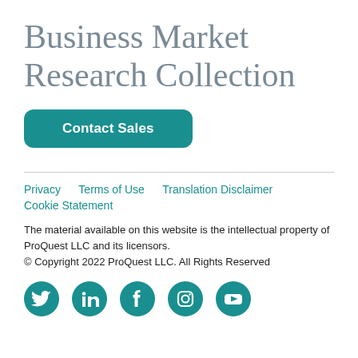Business Market Research Collection
Contact Sales
Privacy   Terms of Use   Translation Disclaimer   Cookie Statement
The material available on this website is the intellectual property of ProQuest LLC and its licensors.
© Copyright 2022 ProQuest LLC. All Rights Reserved
[Figure (illustration): Social media icons row: Twitter, LinkedIn, Facebook, Instagram, YouTube — teal circles with white icons]